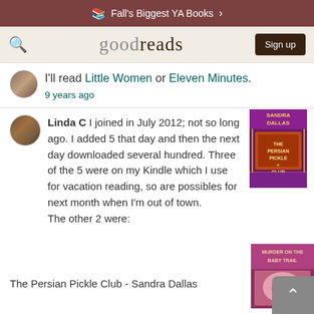Fall's Biggest YA Books >
[Figure (screenshot): Goodreads website navigation bar with search icon, goodreads logo, and Sign up button]
I'll read Little Women or Eleven Minutes.
9 years ago
Linda C I joined in July 2012; not so long ago. I added 5 that day and then the next day downloaded several hundred. Three of the 5 were on my Kindle which I use for vacation reading, so are possibles for next month when I'm out of town.
The other 2 were:
The Persian Pickle Club - Sandra Dallas
[Figure (photo): Book cover of The Persian Pickle Club by Sandra Dallas]
[Figure (photo): Second book cover partially visible at bottom right]